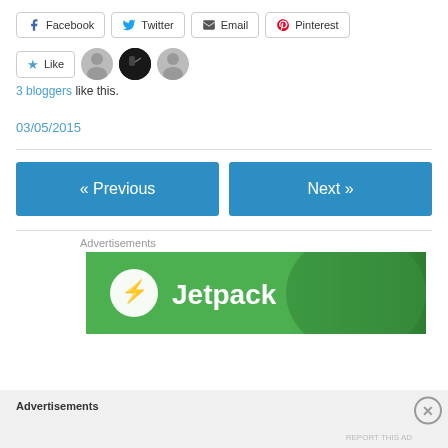[Figure (screenshot): Social share buttons: Facebook, Twitter, Email, Pinterest]
[Figure (screenshot): Like button with star icon and 3 blogger avatars]
3 bloggers like this.
03/05/2015
[Figure (screenshot): Previous and Next navigation buttons]
Advertisements
[Figure (screenshot): Jetpack advertisement banner - green background with Jetpack logo and lightning bolt icon]
Advertisements